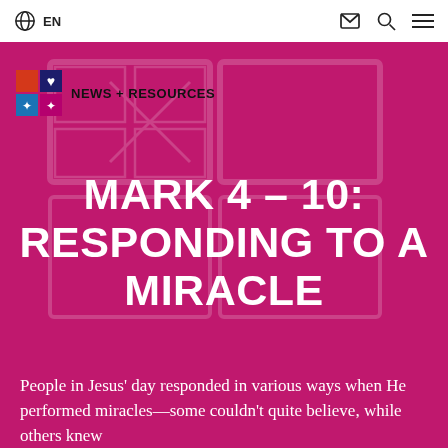EN
[Figure (logo): News + Resources logo with 4-color icon grid and text NEWS + RESOURCES]
MARK 4 – 10: RESPONDING TO A MIRACLE
People in Jesus' day responded in various ways when He performed miracles—some couldn't quite believe, while others knew